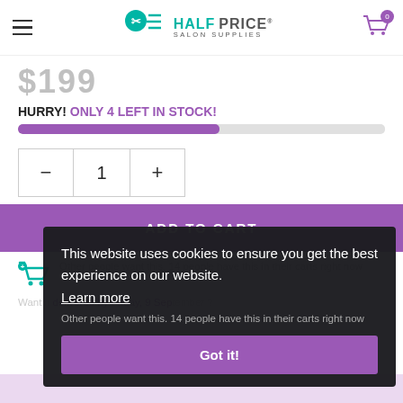Half Price Salon Supplies
$199
HURRY! ONLY 4 LEFT IN STOCK!
[Figure (other): Progress bar showing stock level, approximately 55% filled in purple]
[Figure (other): Quantity selector control showing minus button, value 1, plus button]
ADD TO CART
Other people want this. 14 people have this in their carts right now
Want it delivered by Friday, 9 September?
This website uses cookies to ensure you get the best experience on our website. Learn more Got it!